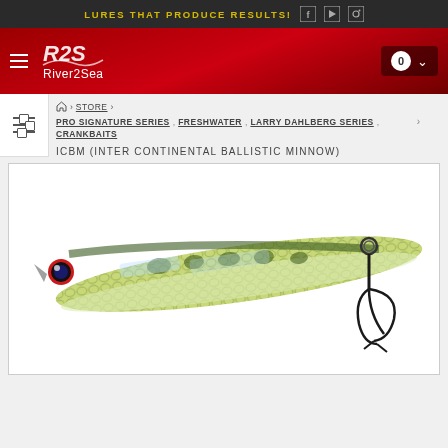LURES THAT PRODUCE RESULTS!
[Figure (logo): River2Sea logo with stylized R2S lettering]
breadcrumb: Home > STORE > PRO SIGNATURE SERIES, FRESHWATER, LARRY DAHLBERG SERIES, CRANKBAITS
ICBM (INTER CONTINENTAL BALLISTIC MINNOW)
[Figure (photo): Close-up photo of a fishing lure (minnow/crankbait) with green/yellow spotted pattern, a treble hook, and a red eye, on white background]